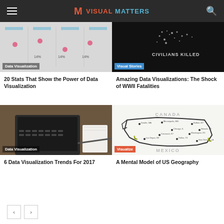Visual Matters
[Figure (screenshot): Data visualization scatter/dot chart with pink dots and 14% labels]
Data Visualization
20 Stats That Show the Power of Data Visualization
[Figure (photo): Dark image showing WWII civilians killed visualization]
Visual Stories
Amazing Data Visualizations: The Shock of WWII Fatalities
[Figure (photo): Laptop on desk with notebook and pen]
Data Visualization
6 Data Visualization Trends For 2017
[Figure (map): Mental model map of US geography showing Canada and Mexico borders with city labels]
Visualize
A Mental Model of US Geography